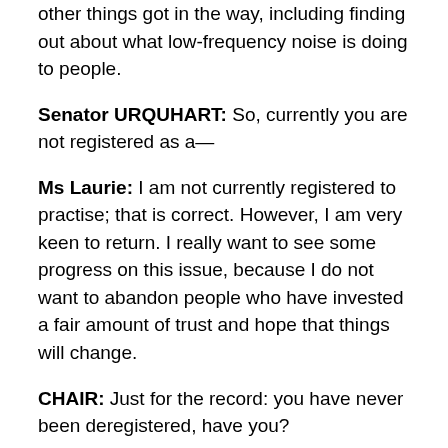other things got in the way, including finding out about what low-frequency noise is doing to people.
Senator URQUHART: So, currently you are not registered as a—
Ms Laurie: I am not currently registered to practise; that is correct. However, I am very keen to return. I really want to see some progress on this issue, because I do not want to abandon people who have invested a fair amount of trust and hope that things will change.
CHAIR: Just for the record: you have never been deregistered, have you?
Ms Laurie: I have never been deregistered, and apart from the defamatory complaint that was publicised and circulated from the Public Health Association of Australia,